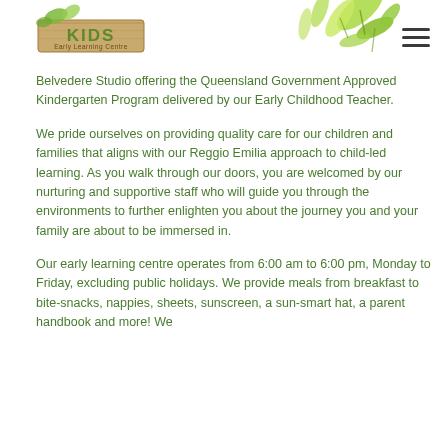[Figure (logo): KIDS Early Learning Centre logo with wooden text style]
[Figure (illustration): Decorative green leaf illustrations in top right corner]
Belvedere Studio offering the Queensland Government Approved Kindergarten Program delivered by our Early Childhood Teacher.
We pride ourselves on providing quality care for our children and families that aligns with our Reggio Emilia approach to child-led learning. As you walk through our doors, you are welcomed by our nurturing and supportive staff who will guide you through the environments to further enlighten you about the journey you and your family are about to be immersed in.
Our early learning centre operates from 6:00 am to 6:00 pm, Monday to Friday, excluding public holidays. We provide meals from breakfast to bite-snacks, nappies, sheets, sunscreen, a sun-smart hat, a parent handbook and more! We